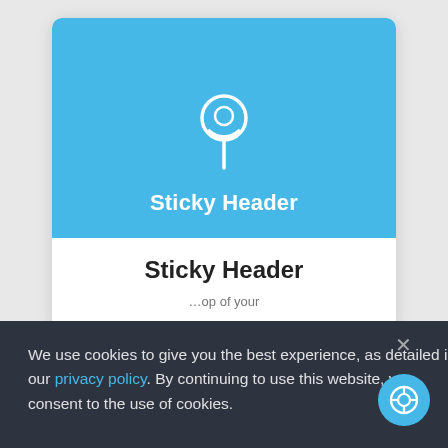[Figure (screenshot): A card UI element showing a blue banner with a white push-pin icon and the text 'Sticky Header' on a sky-blue background, followed by a white card area with 'Sticky Header' as a bold title and partial body text.]
We use cookies to give you the best experience, as detailed in our privacy policy. By continuing to use this website, you consent to the use of cookies.